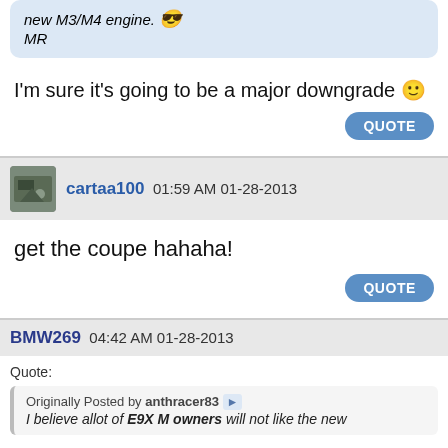new M3/M4 engine. [emoji] MR
I'm sure it's going to be a major downgrade [emoji]
QUOTE
cartaa100 01:59 AM 01-28-2013
get the coupe hahaha!
QUOTE
BMW269 04:42 AM 01-28-2013
Quote: Originally Posted by anthracer83 I believe allot of E9X M owners will not like the new